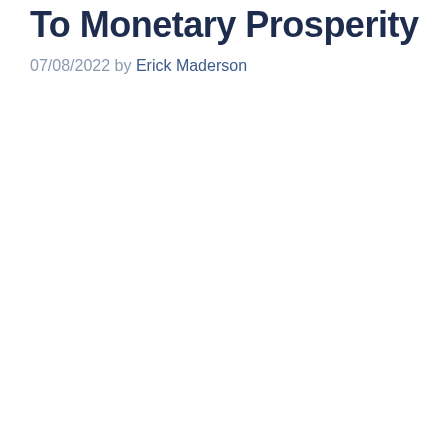To Monetary Prosperity
07/08/2022 by Erick Maderson